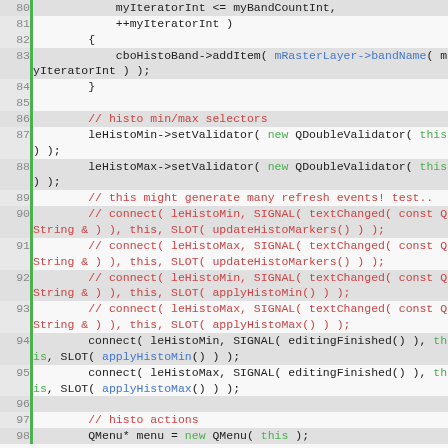[Figure (screenshot): Source code listing in a code editor showing C++ code lines 80-98, with syntax highlighting. Line numbers on left with green bars, code on right with red comments, green keywords (new, this), blue member accesses, and default black/dark text.]